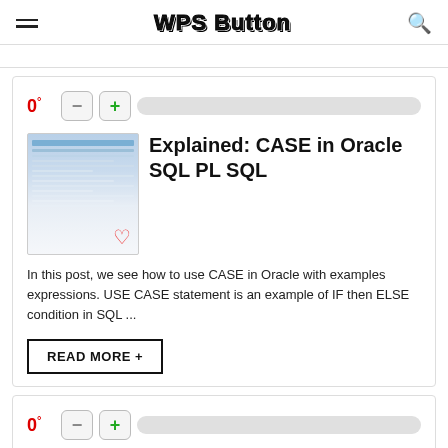WPS Button
[Figure (screenshot): Thumbnail screenshot of a table/spreadsheet for CASE in Oracle SQL PL SQL article]
Explained: CASE in Oracle SQL PL SQL
In this post, we see how to use CASE in Oracle with examples expressions. USE CASE statement is an example of IF then ELSE condition in SQL ...
READ MORE +